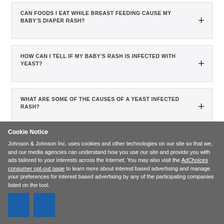CAN FOODS I EAT WHILE BREAST FEEDING CAUSE MY BABY'S DIAPER RASH?
HOW CAN I TELL IF MY BABY'S RASH IS INFECTED WITH YEAST?
WHAT ARE SOME OF THE CAUSES OF A YEAST INFECTED RASH?
HOW LONG SHOULD IT TAKE FOR MY BABY'S RASH?
Cookie Notice
Johnson & Johnson Inc. uses cookies and other technologies on our site so that we, and our media agencies can understand how you use our site and provide you with ads tailored to your interests across the Internet. You may also visit the AdChoices consumer opt-out page to learn more about interest based advertising and manage your preferences for interest based advertising by any of the participating companies listed on the tool.